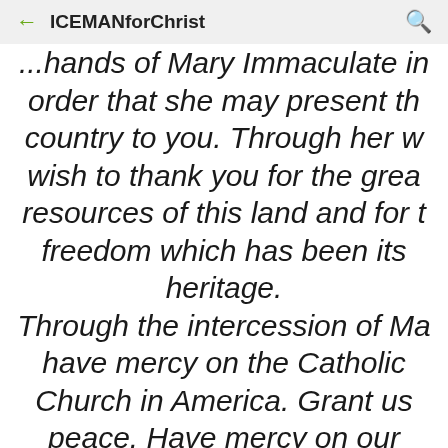ICEMANforChrist
...hands of Mary Immaculate in order that she may present this country to you. Through her we wish to thank you for the great resources of this land and for the freedom which has been its heritage. Through the intercession of Mary, have mercy on the Catholic Church in America. Grant us peace. Have mercy on our President and on all the officers of our government. Grant us a fruitful economy, born of justice and charity. Have mercy on our...